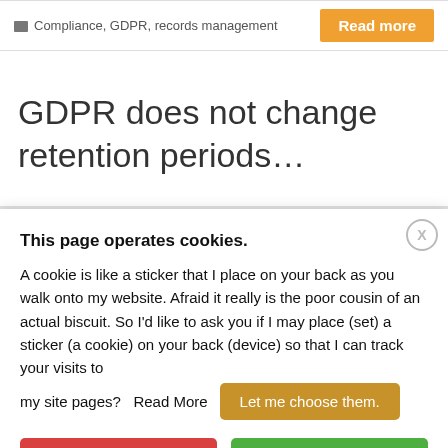Compliance, GDPR, records management
GDPR does not change retention periods…
This page operates cookies.
A cookie is like a sticker that I place on your back as you walk onto my website. Afraid it really is the poor cousin of an actual biscuit. So I'd like to ask you if I may place (set) a sticker (a cookie) on your back (device) so that I can track your visits to my site pages?  Read More
Let me choose them.
No thanks! [Reject All]
Oh go on then [Accept All]